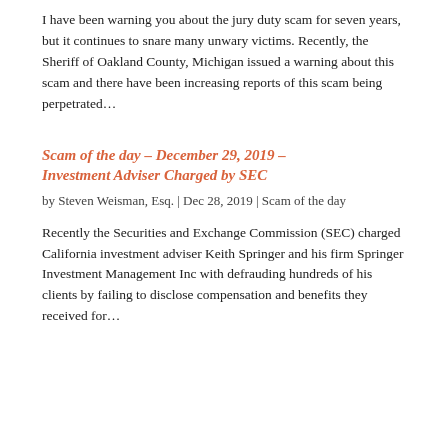I have been warning you about the jury duty scam for seven years, but it continues to snare many unwary victims. Recently, the Sheriff of Oakland County, Michigan issued a warning about this scam and there have been increasing reports of this scam being perpetrated...
Scam of the day – December 29, 2019 – Investment Adviser Charged by SEC
by Steven Weisman, Esq. | Dec 28, 2019 | Scam of the day
Recently the Securities and Exchange Commission (SEC) charged California investment adviser Keith Springer and his firm Springer Investment Management Inc with defrauding hundreds of his clients by failing to disclose compensation and benefits they received for...